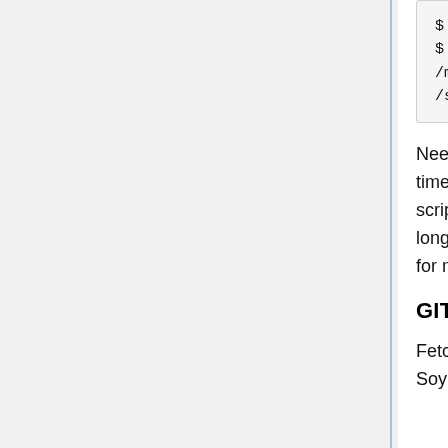$ rm /srv/slashdev/slashcode
$ ln -s -T /media/sf_slashcode /srv/slashdev/slashcode
Need to make sure your VM time is set a bit ahead of your host machine time to avoid "Clock skew detected." errors when running deployslash.sh script inside the VM. I noticed that deployslash.sh script takes a little longer to finish, but does eventually finish. Tested and seems to work fine for me.
GIT SHELL SCRIPTS
Fetch and merge changes from the upstream remote SoylentNews/slashcode repository: /var/www/slash/git/slashcode-